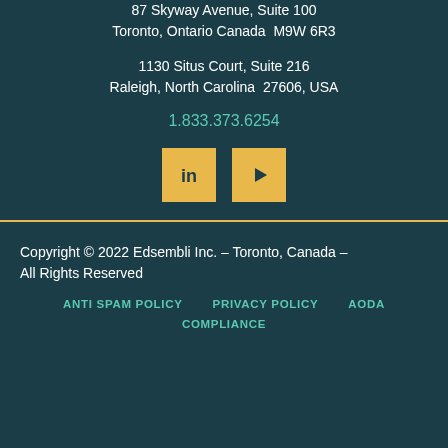87 Skyway Avenue, Suite 100
Toronto, Ontario Canada  M9W 6R3
1130 Situs Court, Suite 216
Raleigh, North Carolina  27606, USA
1.833.373.6254
[Figure (other): LinkedIn and YouTube social media icons, golden square buttons]
Copyright © 2022 Edsembli Inc. – Toronto, Canada – All Rights Reserved
ANTI SPAM POLICY     PRIVACY POLICY     AODA COMPLIANCE